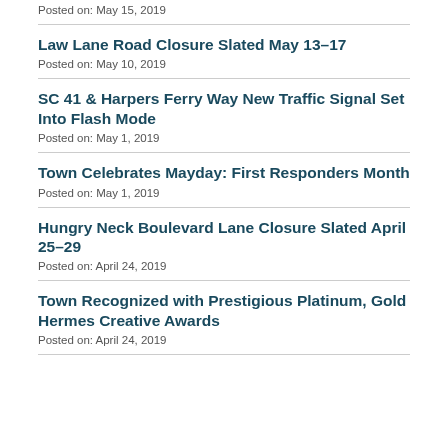Posted on: May 15, 2019
Law Lane Road Closure Slated May 13–17
Posted on: May 10, 2019
SC 41 & Harpers Ferry Way New Traffic Signal Set Into Flash Mode
Posted on: May 1, 2019
Town Celebrates Mayday: First Responders Month
Posted on: May 1, 2019
Hungry Neck Boulevard Lane Closure Slated April 25–29
Posted on: April 24, 2019
Town Recognized with Prestigious Platinum, Gold Hermes Creative Awards
Posted on: April 24, 2019